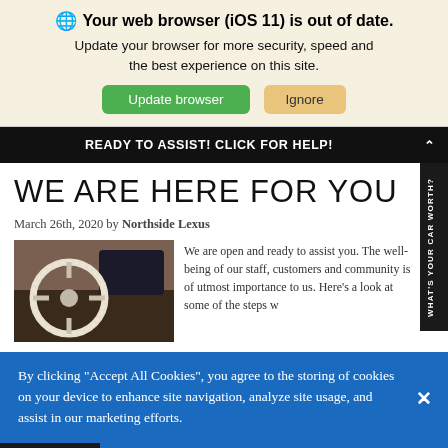Your web browser (iOS 11) is out of date. Update your browser for more security, speed and the best experience on this site.
Update browser | Ignore
READY TO ASSIST! CLICK FOR HELP!
WE ARE HERE FOR YOU
March 26th, 2020 by Northside Lexus
[Figure (photo): Interior photo of a Lexus car showing steering wheel wrapped in protective plastic cover]
We are open and ready to assist you. The well-being of our staff, customers and community is of utmost importance to us. Here's a look at some of the steps w...
By clicking "Accept All Cookies", you agree to the storing of cookies on your device to enhance site navigation, analyze site usage, and assist in our marketing efforts.
Cookies Settings | Accept All Cookies